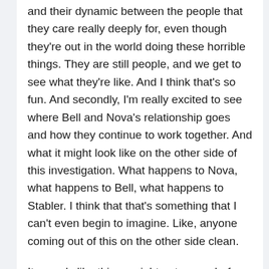and their dynamic between the people that they care really deeply for, even though they're out in the world doing these horrible things. They are still people, and we get to see what they're like. And I think that's so fun. And secondly, I'm really excited to see where Bell and Nova's relationship goes and how they continue to work together. And what it might look like on the other side of this investigation. What happens to Nova, what happens to Bell, what happens to Stabler. I think that that's something that I can't even begin to imagine. Like, anyone coming out of this on the other side clean.
It sounds like things might get worse before